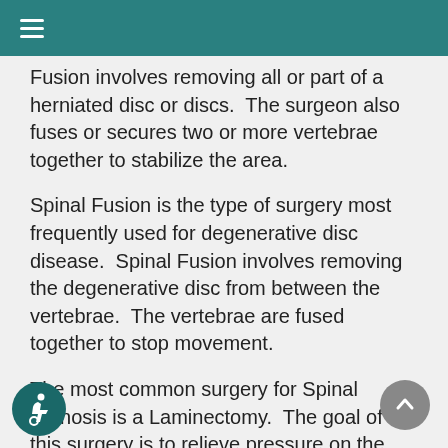≡
Fusion involves removing all or part of a herniated disc or discs.  The surgeon also fuses or secures two or more vertebrae together to stabilize the area.
Spinal Fusion is the type of surgery most frequently used for degenerative disc disease.  Spinal Fusion involves removing the degenerative disc from between the vertebrae.  The vertebrae are fused together to stop movement.
The most common surgery for Spinal Stenosis is a Laminectomy.  The goal of this surgery is to relieve pressure on the spinal cord and nerves by enlarging the